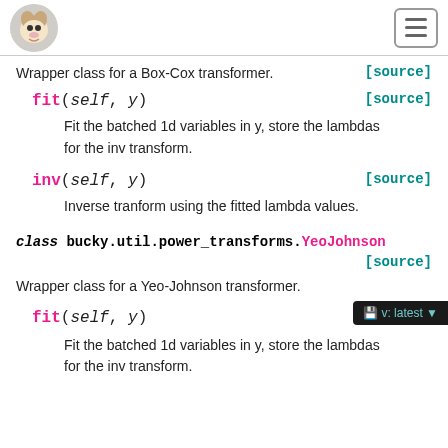Bucky documentation header with logo and navigation menu
Wrapper class for a Box-Cox transformer.
[source]
fit(self, y)
[source]
Fit the batched 1d variables in y, store the lambdas for the inv transform.
inv(self, y)
[source]
Inverse tranform using the fitted lambda values.
class bucky.util.power_transforms.YeoJohnson
[source]
Wrapper class for a Yeo-Johnson transformer.
fit(self, y)
Fit the batched 1d variables in y, store the lambdas for the inv transform.